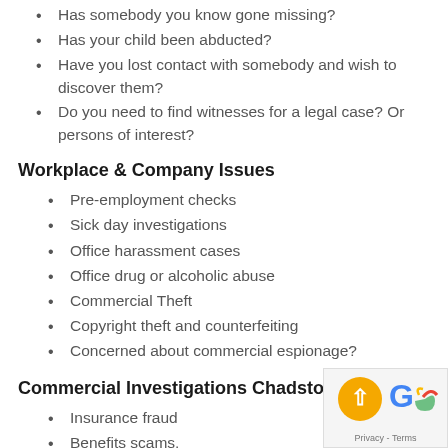Has somebody you know gone missing?
Has your child been abducted?
Have you lost contact with somebody and wish to discover them?
Do you need to find witnesses for a legal case? Or persons of interest?
Workplace & Company Issues
Pre-employment checks
Sick day investigations
Office harassment cases
Office drug or alcoholic abuse
Commercial Theft
Copyright theft and counterfeiting
Concerned about commercial espionage?
Commercial Investigations Chadstone
Insurance fraud
Benefits scams.